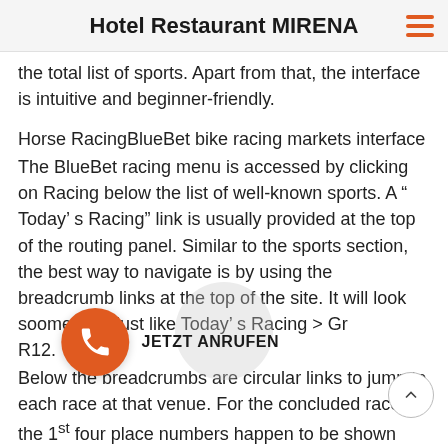Hotel Restaurant MIRENA
the total list of sports. Apart from that, the interface is intuitive and beginner-friendly.
Horse RacingBlueBet bike racing markets interface
The BlueBet racing menu is accessed by clicking on Racing below the list of well-known sports. A “ Today’ s Racing” link is usually provided at the top of the routing panel. Similar to the sports section, the best way to navigate is by using the breadcrumb links at the top of the site. It will look soomething just like Today’ s Racing > Gr… R12.
Below the breadcrumbs are circular links to jump to each race at that venue. For the concluded races the 1st four place numbers happen to be shown while for upcoming